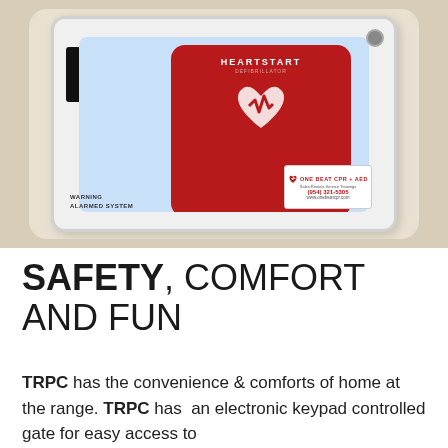[Figure (photo): A HeartStart Defibrillator AED mounted in a white wall cabinet with rounded corners. The red AED device is visible inside the open cabinet door. A black panel is on the left side inside the cabinet. There is a sticker reading 'One Beat CPR + AED, (954) 321-5305, www.onebeatcpr.com'. The cabinet has a warning label reading 'WARNING ALARMED SYSTEM'.]
SAFETY, COMFORT AND FUN
TRPC has the convenience & comforts of home at the range. TRPC has an electronic keypad controlled gate for easy access to the range during range hours. At TRPC